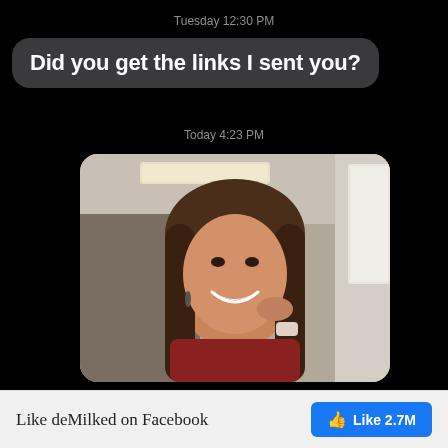Tuesday 12:30 PM
Did you get the links I sent you?
Today 4:23 PM
[Figure (photo): A young woman smiling, taking a selfie in an office or classroom setting, wearing a red sweater and a smartwatch, with fluorescent ceiling lights visible in the background.]
Like deMilked on Facebook
Like 2.7M